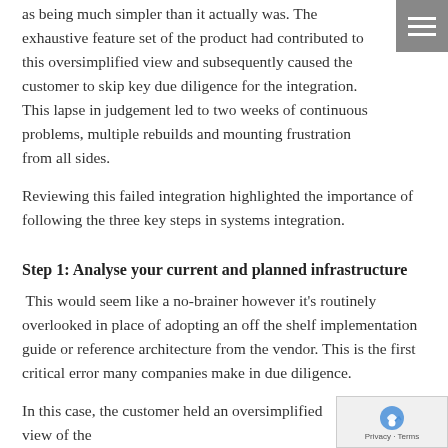as being much simpler than it actually was. The exhaustive feature set of the product had contributed to this oversimplified view and subsequently caused the customer to skip key due diligence for the integration. This lapse in judgement led to two weeks of continuous problems, multiple rebuilds and mounting frustration from all sides.
Reviewing this failed integration highlighted the importance of following the three key steps in systems integration.
Step 1: Analyse your current and planned infrastructure
This would seem like a no-brainer however it's routinely overlooked in place of adopting an off the shelf implementation guide or reference architecture from the vendor. This is the first critical error many companies make in due diligence.
In this case, the customer held an oversimplified view of the